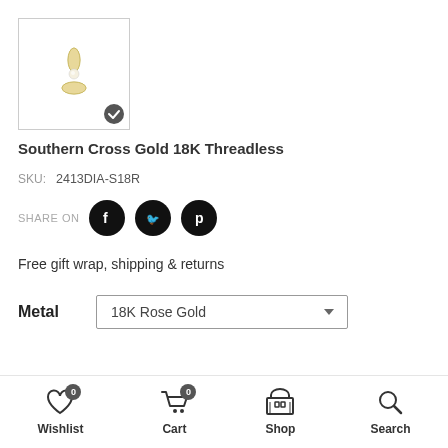[Figure (photo): Jewelry product thumbnail: Southern Cross Gold 18K Threadless piece showing a diamond-shaped star cluster in gold with crystal stones, with a checkmark badge in bottom right corner]
Southern Cross Gold 18K Threadless
SKU:  2413DIA-S18R
SHARE ON
Free gift wrap, shipping & returns
Metal   18K Rose Gold
Wishlist  Cart  Shop  Search